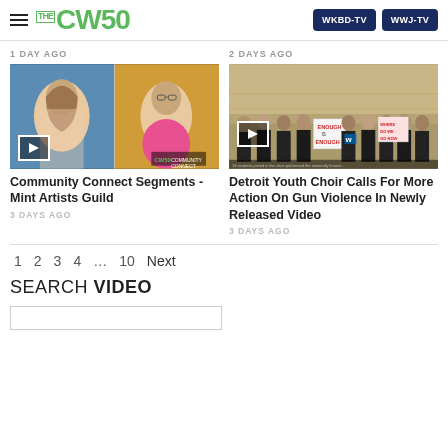THE CW50 | WKBD-TV | WWJ-TV
1 DAY AGO
2 DAYS AGO
[Figure (screenshot): Video thumbnail showing two women on a split screen video call. Left woman has long brown hair, right woman has glasses and pink shirt. CW50 Community Connect logo visible.]
[Figure (screenshot): Video thumbnail showing students in black shirts holding protest signs including one reading 'ENOUGH IS ENOUGH' in a school gymnasium.]
Community Connect Segments - Mint Artists Guild
Detroit Youth Choir Calls For More Action On Gun Violence In Newly Released Video
3 DAYS AGO
3 DAYS AGO
1  2  3  4  ...  10  Next
SEARCH VIDEO